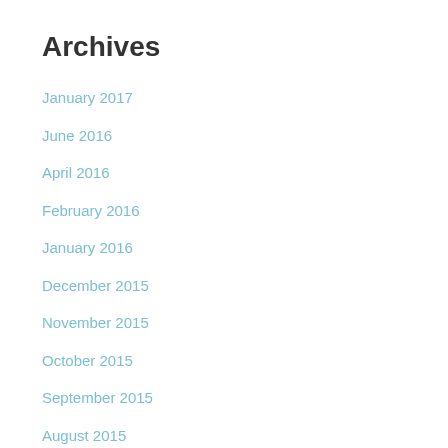Archives
January 2017
June 2016
April 2016
February 2016
January 2016
December 2015
November 2015
October 2015
September 2015
August 2015
July 2015
June 2015
May 2015